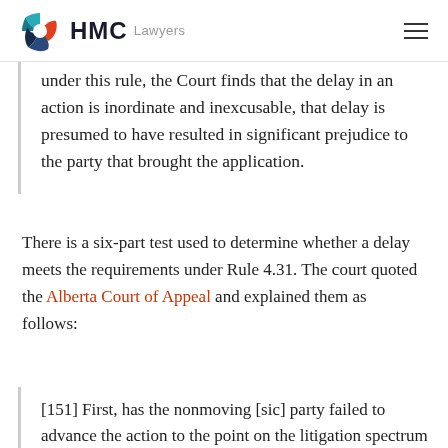HMC Lawyers
under this rule, the Court finds that the delay in an action is inordinate and inexcusable, that delay is presumed to have resulted in significant prejudice to the party that brought the application.
There is a six-part test used to determine whether a delay meets the requirements under Rule 4.31. The court quoted the Alberta Court of Appeal and explained them as follows:
[151] First, has the nonmoving [sic] party failed to advance the action to the point on the litigation spectrum that a litigant acting reasonably would have attained within the